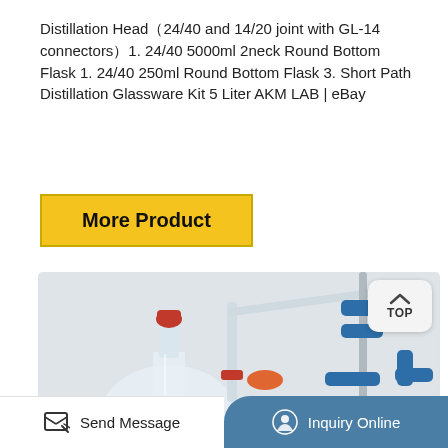Distillation Head(24/40 and 14/20 joint with GL-14 connectors）1. 24/40 5000ml 2neck Round Bottom Flask 1. 24/40 250ml Round Bottom Flask 3. Short Path Distillation Glassware Kit 5 Liter AKM LAB | eBay
[Figure (other): Yellow 'More Product' button with gold border]
[Figure (photo): Laboratory short path distillation glassware setup showing glass flasks, tubing, red-capped stopcock, blue clamps on a metal stand, against a light gray/white background. A 'TOP' navigation button appears in the top-right corner of the photo area.]
[Figure (other): Bottom footer bar with two sections: left white section showing pencil/message icon and 'Send Message' text; right dark teal/blue section with rounded top-left corner showing headset icon and 'Inquiry Online' text.]